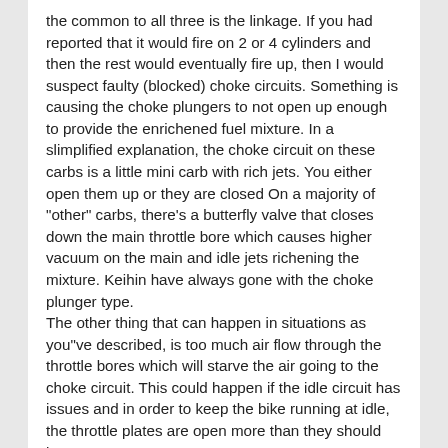the common to all three is the linkage. If you had reported that it would fire on 2 or 4 cylinders and then the rest would eventually fire up, then I would suspect faulty (blocked) choke circuits. Something is causing the choke plungers to not open up enough to provide the enrichened fuel mixture. In a slimplified explanation, the choke circuit on these carbs is a little mini carb with rich jets. You either open them up or they are closed On a majority of "other" carbs, there's a butterfly valve that closes down the main throttle bore which causes higher vacuum on the main and idle jets richening the mixture. Keihin have always gone with the choke plunger type.
The other thing that can happen in situations as you"ve described, is too much air flow through the throttle bores which will starve the air going to the choke circuit. This could happen if the idle circuit has issues and in order to keep the bike running at idle, the throttle plates are open more than they should be.

The reason the hair dryer trick works supports the reason we have choke circuits in carburetors. Cool/cold air and cold fuel will not mix properly and the only way we can get things blowing together is hot air injection, say, by means of a...